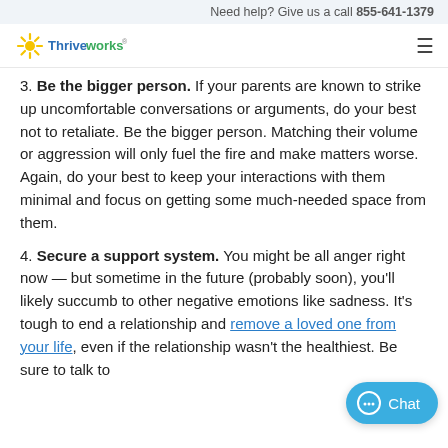Need help? Give us a call 855-641-1379
[Figure (logo): Thriveworks logo with yellow sunburst and blue text]
3. Be the bigger person. If your parents are known to strike up uncomfortable conversations or arguments, do your best not to retaliate. Be the bigger person. Matching their volume or aggression will only fuel the fire and make matters worse. Again, do your best to keep your interactions with them minimal and focus on getting some much-needed space from them.
4. Secure a support system. You might be all anger right now — but sometime in the future (probably soon), you'll likely succumb to other negative emotions like sadness. It's tough to end a relationship and remove a loved one from your life, even if the relationship wasn't the healthiest. Be sure to talk to